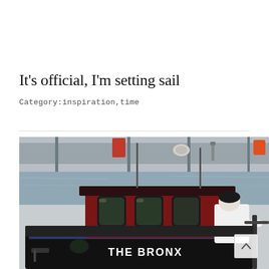It's official, I'm setting sail
Category:inspiration,time
[Figure (photo): A tugboat named 'THE BRONX' with a dark hull and red cabin with white-framed windows, moored at a waterfront. A person wearing a white shirt and black cap stands on the deck leaning on a railing. Background shows a waterway and a pier or bridge structure.]